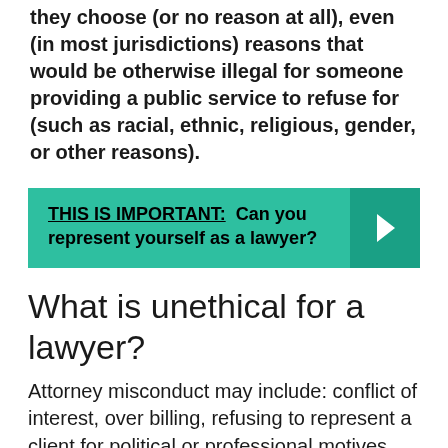they choose (or no reason at all), even (in most jurisdictions) reasons that would be otherwise illegal for someone providing a public service to refuse for (such as racial, ethnic, religious, gender, or other reasons).
THIS IS IMPORTANT: Can you represent yourself as a lawyer?
What is unethical for a lawyer?
Attorney misconduct may include: conflict of interest, over billing, refusing to represent a client for political or professional motives, false or misleading statements, knowingly accepting worthless lawsuits, hiding